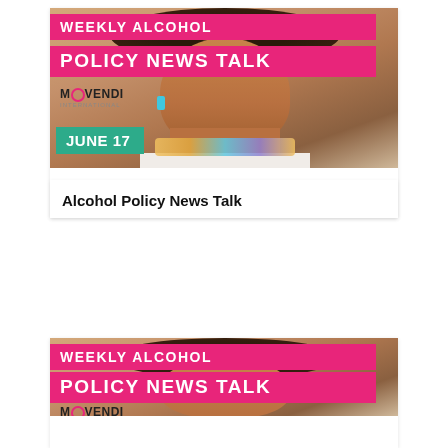[Figure (illustration): Top card: Weekly Alcohol Policy News Talk banner with photo of a smiling woman with curly hair wearing a turquoise necklace. Pink banner overlays read 'WEEKLY ALCOHOL' and 'POLICY NEWS TALK'. Movendi International logo visible. Green date badge says 'JUNE 17'.]
Alcohol Policy News Talk
[Figure (illustration): Bottom card (partial): Repeat of the Weekly Alcohol Policy News Talk banner card, showing 'WEEKLY ALCOHOL' and 'POLICY NEWS TALK' pink banners, Movendi International logo, and the same woman's photo cropped.]